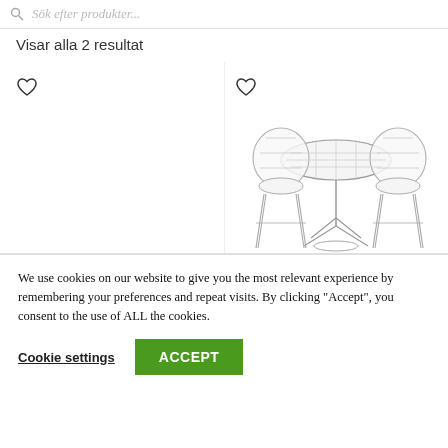Sök efter produkter...
Visar alla 2 resultat
[Figure (photo): Heart icon (wishlist) on left product card]
[Figure (photo): Garden furniture set: round table and two wire chairs, along with a heart wishlist icon]
We use cookies on our website to give you the most relevant experience by remembering your preferences and repeat visits. By clicking "Accept", you consent to the use of ALL the cookies.
Cookie settings   ACCEPT